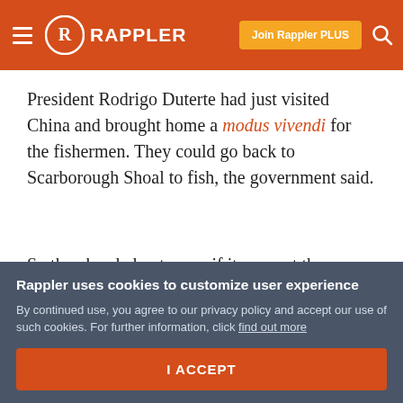Rappler — Join Rappler PLUS
President Rodrigo Duterte had just visited China and brought home a modus vivendi for the fishermen. They could go back to Scarborough Shoal to fish, the government said.
So they headed out, even if it was not the season. The weather was good enough, and they had been longing to return.
Rappler uses cookies to customize user experience
By continued use, you agree to our privacy policy and accept our use of such cookies. For further information, click find out more
I ACCEPT